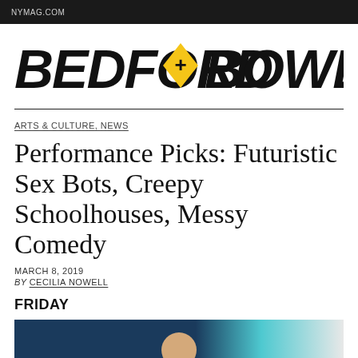NYMAG.COM
[Figure (logo): Bedford + Bowery logo in bold black text with a yellow diamond containing a plus sign]
ARTS & CULTURE, NEWS
Performance Picks: Futuristic Sex Bots, Creepy Schoolhouses, Messy Comedy
MARCH 8, 2019
BY CECILIA NOWELL
FRIDAY
[Figure (photo): Partial photo showing a dark teal/navy background with what appears to be a person, cropped at bottom of page]